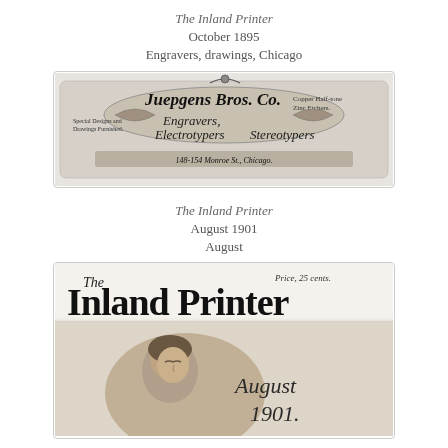The Inland Printer
October 1895
Engravers, drawings, Chicago
[Figure (illustration): Juepgens Bros. Co. advertisement - Engravers, Electrotypers, Stereotypers, 148-154 Monroe St., Chicago. Copper Half-tone, Zinc Ethcers. Special Designs and Drawings Furnished.]
The Inland Printer
August 1901
August
[Figure (illustration): Cover of The Inland Printer, August 1901. Price 25 cents. Shows title masthead in decorative black lettering and a portrait of a woman looking downward, with 'August 1901.' in decorative script.]